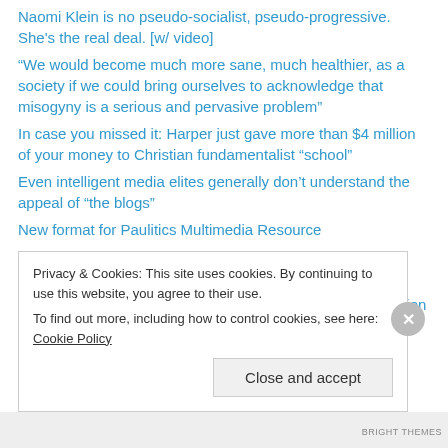Naomi Klein is no pseudo-socialist, pseudo-progressive. She's the real deal. [w/ video]
“We would become much more sane, much healthier, as a society if we could bring ourselves to acknowledge that misogyny is a serious and pervasive problem”
In case you missed it: Harper just gave more than $4 million of your money to Christian fundamentalist “school”
Even intelligent media elites generally don’t understand the appeal of “the blogs”
New format for Paulitics Multimedia Resource
New European report on anti-semitism is shocking, but for different reasons
Now available: The 2009 Canadian federal election projection model
Privacy & Cookies: This site uses cookies. By continuing to use this website, you agree to their use. To find out more, including how to control cookies, see here: Cookie Policy
Close and accept
BRIGHT THEMES